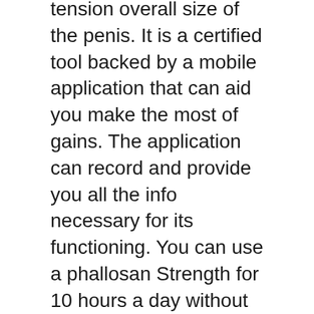tension overall size of the penis. It is a certified tool backed by a mobile application that can aid you make the most of gains. The application can record and provide you all the info necessary for its functioning. You can use a phallosan Strength for 10 hours a day without compromising the convenience.
The price of the Phallosan specialty remains in range of $379-$ 499, that includes all the accessories and a travel bag. The firm likewise offers its clients by using a money-back warranty; hence, you can claim all your cash even if you are not satisfied.
Order this modern-designed manhood gadget for your nerve as well as invest quality time with your partners.